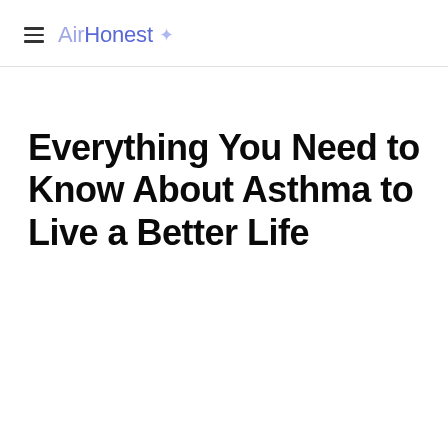Air Honest
Everything You Need to Know About Asthma to Live a Better Life